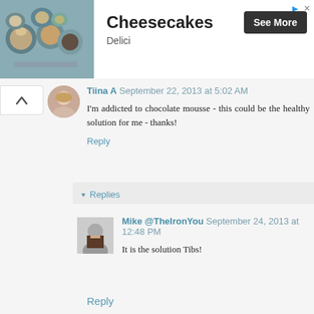[Figure (other): Advertisement banner for Cheesecakes by Delici with food photo, See More button]
Tiina A September 22, 2013 at 5:02 AM
I'm addicted to chocolate mousse - this could be the healthy solution for me - thanks!
Reply
▾ Replies
Mike @TheIronYou September 24, 2013 at 12:48 PM
It is the solution Tibs!
Reply